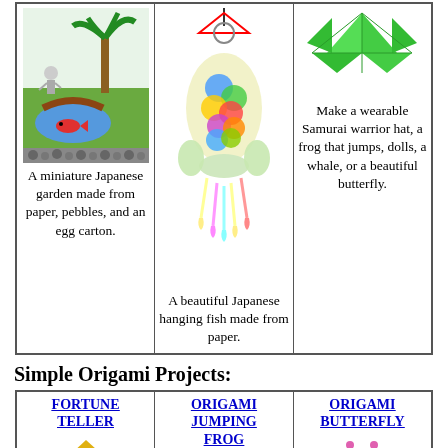[Figure (illustration): Miniature Japanese garden scene with a person, palm tree, red fish in water, brown bridge, and pebbles border]
A miniature Japanese garden made from paper, pebbles, and an egg carton.
[Figure (illustration): Colorful Japanese hanging fish (koinobori) made from paper with rainbow streamers]
A beautiful Japanese hanging fish made from paper.
[Figure (illustration): Green origami tangram/samurai hat shape]
Make a wearable Samurai warrior hat, a frog that jumps, dolls, a whale, or a beautiful butterfly.
Simple Origami Projects:
FORTUNE TELLER
ORIGAMI JUMPING FROG
ORIGAMI BUTTERFLY
[Figure (illustration): Gold/yellow origami fortune teller with numbers 3 and 6]
[Figure (illustration): Green origami jumping frog]
[Figure (illustration): Pink butterfly with blue water background]